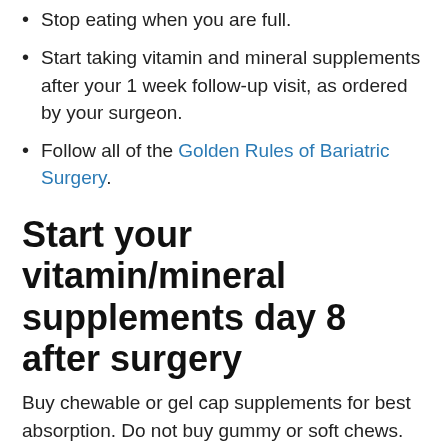Stop eating when you are full.
Start taking vitamin and mineral supplements after your 1 week follow-up visit, as ordered by your surgeon.
Follow all of the Golden Rules of Bariatric Surgery.
Start your vitamin/mineral supplements day 8 after surgery
Buy chewable or gel cap supplements for best absorption. Do not buy gummy or soft chews.